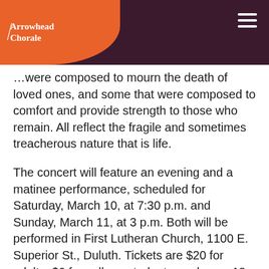Arrowhead Chorale
…were composed to mourn the death of loved ones, and some that were composed to comfort and provide strength to those who remain. All reflect the fragile and sometimes treacherous nature that is life.
The concert will feature an evening and a matinee performance, scheduled for Saturday, March 10, at 7:30 p.m. and Sunday, March 11, at 3 p.m. Both will be performed in First Lutheran Church, 1100 E. Superior St., Duluth. Tickets are $20 for adults, $6 for college students, and ages 18 and under are free. Tickets are available online at http://arrowheadchorale.com/tickets.php.
From tragic to comforting, the pieces selected for the concert evoke a mosaic of feelings surrounding death and the life that continues after losing a loved one.